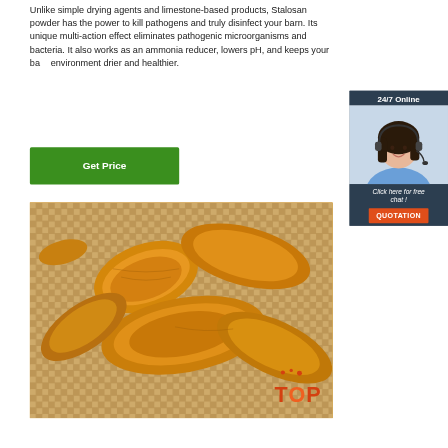Unlike simple drying agents and limestone-based products, Stalosan powder has the power to kill pathogens and truly disinfect your barn. Its unique multi-action effect eliminates pathogenic microorganisms and bacteria. It also works as an ammonia reducer, lowers pH, and keeps your barn environment drier and healthier.
Get Price
[Figure (screenshot): 24/7 Online chat widget with female customer service agent wearing headset, and buttons for 'Click here for free chat!' and 'QUOTATION']
[Figure (photo): Close-up photo of dried turmeric root slices on a woven bamboo mat, orange-yellow colored]